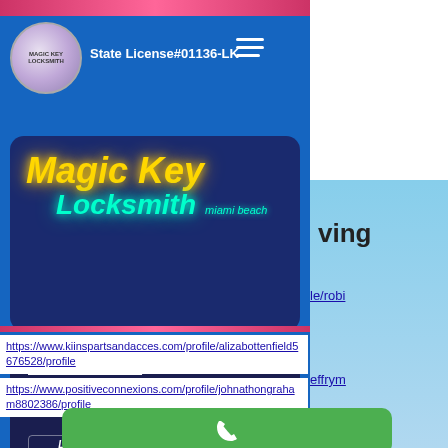[Figure (screenshot): Magic Key Locksmith Miami Beach website screenshot showing logo, header with State License#01136-LK, Magic Key Locksmith banner, Call Now section with phone number (305) 304 6505, and partial links visible on the right side]
State License#01136-LK
Magic Key
Locksmith miami beach
CALL NOW!
(305) 304 6505
100% Customer Satisfaction
Licensed & Insured and Bonded for your protection
https://www.kiinspartsandacces.com/profile/alizabottenfield5676528/profile
https://www.positiveconnexions.com/profile/johnathongraham8802386/profile